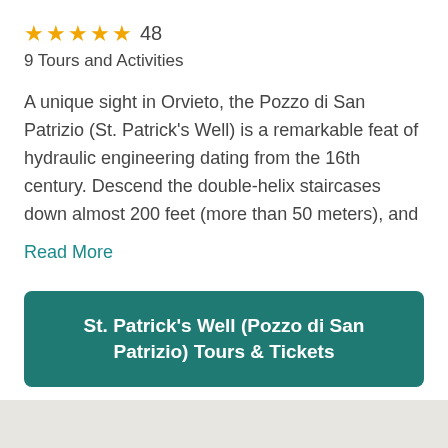★★★★★ 48
9 Tours and Activities
A unique sight in Orvieto, the Pozzo di San Patrizio (St. Patrick's Well) is a remarkable feat of hydraulic engineering dating from the 16th century. Descend the double-helix staircases down almost 200 feet (more than 50 meters), and
Read More
St. Patrick's Well (Pozzo di San Patrizio) Tours & Tickets